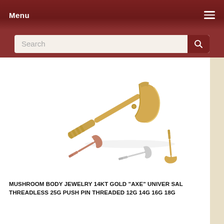Menu
[Figure (photo): Product photo of 14kt gold axe body jewelry piercing pieces in gold, rose gold, and silver finishes, shown as small axe-shaped labret studs]
MUSHROOM BODY JEWELRY 14KT GOLD "AXE" UNIVERSAL THREADLESS 25G PUSH PIN THREADED 12G 14G 16G 18G